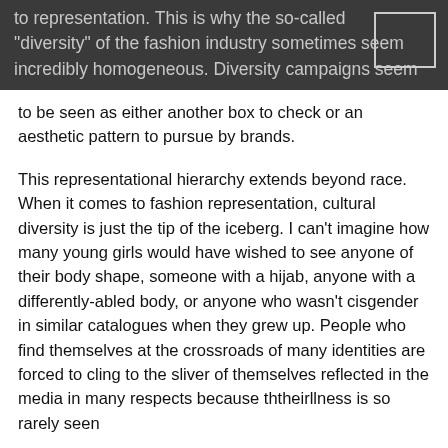to representation. This is why the so-called "diversity" of the fashion industry sometimes seems incredibly homogeneous. Diversity campaigns seem to be seen as either another box to check or an aesthetic pattern to pursue by brands.
This representational hierarchy extends beyond race. When it comes to fashion representation, cultural diversity is just the tip of the iceberg. I can't imagine how many young girls would have wished to see anyone of their body shape, someone with a hijab, anyone with a differently-abled body, or anyone who wasn't cisgender in similar catalogues when they grew up. People who find themselves at the crossroads of many identities are forced to cling to the sliver of themselves reflected in the media in many respects because ththeirllness is so rarely seen